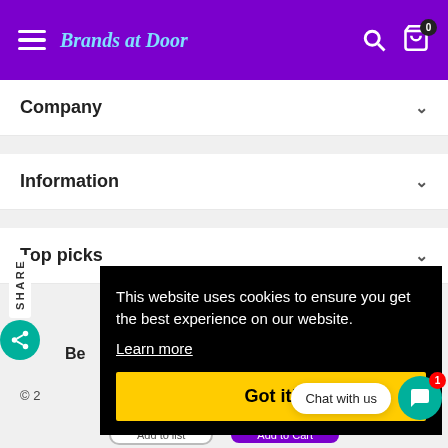Brands at Door
Company
Information
Top picks
This website uses cookies to ensure you get the best experience on our website.
Learn more
Got it!
Chat with us
© 2